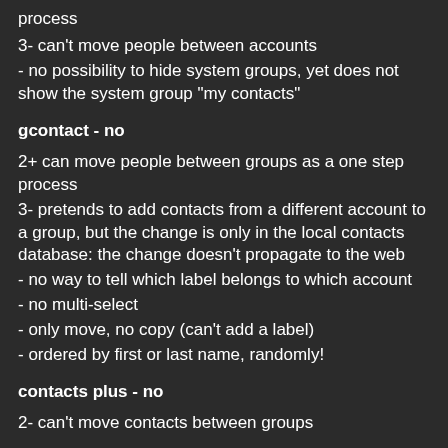process
3- can't move people between accounts
- no possibility to hide system groups, yet does not show the system group “my contacts”
gcontact - no
2+ can move people between groups as a one step process
3- pretends to add contacts from a different account to a group, but the change is only in the local contacts database: the change doesn't propagate to the web
- no way to tell which label belongs to which account
- no multi-select
- only move, no copy (can't add a label)
- ordered by first or last name, randomly!
contacts plus - no
2- can't move contacts between groups